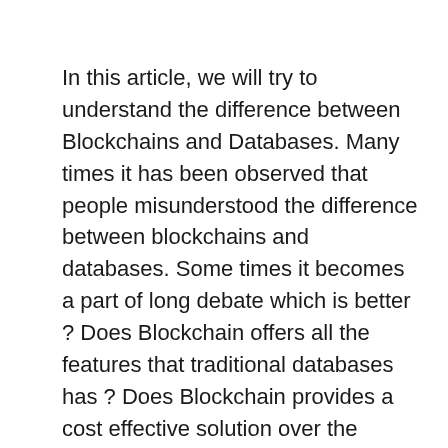In this article, we will try to understand the difference between Blockchains and Databases. Many times it has been observed that people misunderstood the difference between blockchains and databases. Some times it becomes a part of long debate which is better ? Does Blockchain offers all the features that traditional databases has ? Does Blockchain provides a cost effective solution over the traditional databases and so on. There are tons of questions people has it in their mind.
Well, to understand the difference between the two we first need to understand the use case someone has. For example, if we are talking about a use case where application deployment